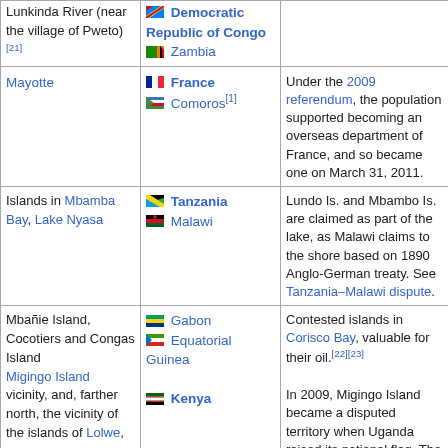| Territory/Location | Claimants | Notes |
| --- | --- | --- |
| Lunkinda River (near the village of Pweto)[21] | Democratic Republic of Congo / Zambia |  |
| Mayotte | France / Comoros[1] | Under the 2009 referendum, the population supported becoming an overseas department of France, and so became one on March 31, 2011. |
| Islands in Mbamba Bay, Lake Nyasa | Tanzania / Malawi | Lundo Is. and Mbambo Is. are claimed as part of the lake, as Malawi claims to the shore based on 1890 Anglo-German treaty. See Tanzania–Malawi dispute. |
| Mbañie Island, Cocotiers and Congas Island | Gabon / Equatorial Guinea | Contested islands in Corisco Bay, valuable for their oil.[22][23] |
| Migingo Island vicinity, and, farther north, the vicinity of the islands of Lolwe, ... | Kenya | In 2009, Migingo Island became a disputed territory when Uganda raised its national flag. The dispute is related to fishing rights |